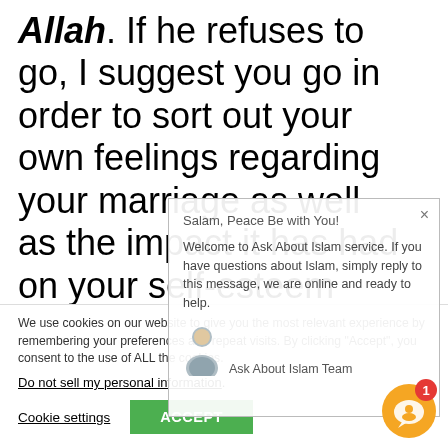Allah. If he refuses to go, I suggest you go in order to sort out your own feelings regarding your marriage as well as the impact it has had on your self-esteem and emotions. Be good to yourself, love yourself for the
We use cookies on our website to give you the most relevant experience by remembering your preferences and repeat visits. By clicking "Accept", you consent to the use of ALL the cookies.
Do not sell my personal information.
Cookie settings    ACCEPT
Salam, Peace Be with You!

Welcome to Ask About Islam service. If you have questions about Islam, simply reply to this message, we are online and ready to help.

Ask About Islam Team